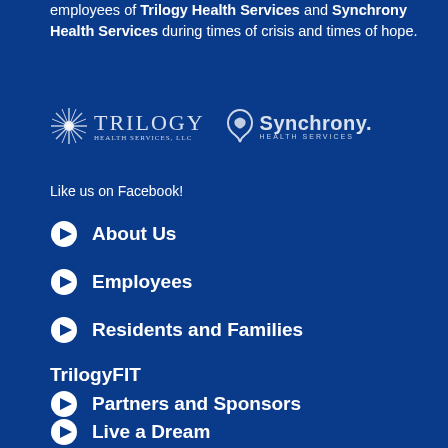employees of Trilogy Health Services and Synchrony Health Services during times of crisis and times of hope.
[Figure (logo): Trilogy Health Services LLC logo and Synchrony Health Services logo side by side on blue background]
Like us on Facebook!
About Us
Employees
Residents and Families
TrilogyFIT
Partners and Sponsors
Live a Dream